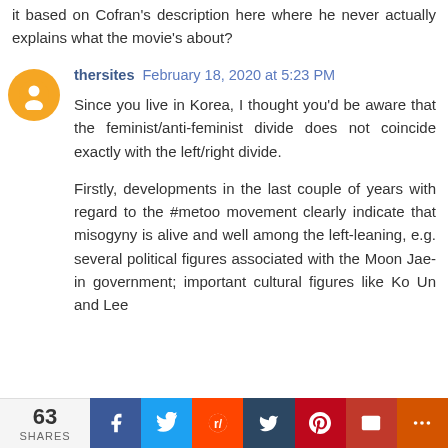it based on Cofran's description here where he never actually explains what the movie's about?
thersites February 18, 2020 at 5:23 PM
Since you live in Korea, I thought you'd be aware that the feminist/anti-feminist divide does not coincide exactly with the left/right divide.

Firstly, developments in the last couple of years with regard to the #metoo movement clearly indicate that misogyny is alive and well among the left-leaning, e.g. several political figures associated with the Moon Jae-in government; important cultural figures like Ko Un and Lee
63 SHARES | Facebook | Twitter | Reddit | Tumblr | Pinterest | Email | More